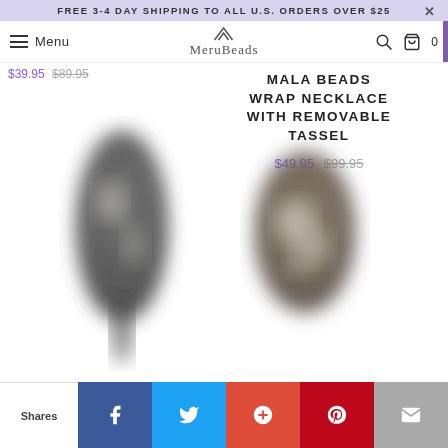FREE 3-4 DAY SHIPPING TO ALL U.S. ORDERS OVER $25
Menu | MeruBeads
$39.95 $89.95
MALA BEADS WRAP NECKLACE WITH REMOVABLE TASSEL
$49.95 $99.95
[Figure (photo): Two blurred mala bead necklace wrap product photos side by side]
Shares